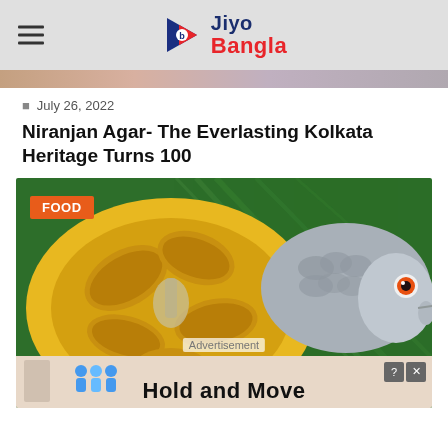Jiyo Bangla
July 26, 2022
Niranjan Agar- The Everlasting Kolkata Heritage Turns 100
[Figure (photo): A bowl of yellow fish curry (likely hilsa/ilish) in mustard sauce alongside a fresh fish on a banana leaf. An advertisement overlay at the bottom reads 'Hold and Move' with a FOOD badge in the top left corner.]